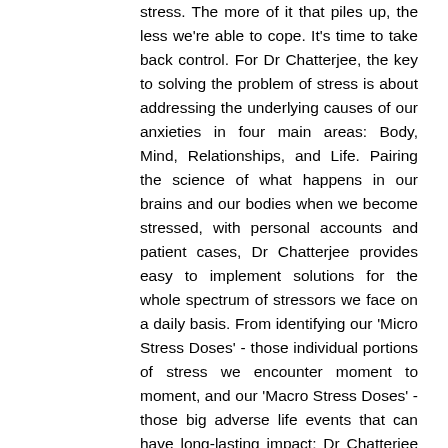stress. The more of it that piles up, the less we're able to cope. It's time to take back control. For Dr Chatterjee, the key to solving the problem of stress is about addressing the underlying causes of our anxieties in four main areas: Body, Mind, Relationships, and Life. Pairing the science of what happens in our brains and our bodies when we become stressed, with personal accounts and patient cases, Dr Chatterjee provides easy to implement solutions for the whole spectrum of stressors we face on a daily basis. From identifying our 'Micro Stress Doses' - those individual portions of stress we encounter moment to moment, and our 'Macro Stress Doses' - those big adverse life events that can have long-lasting impact; Dr Chatterjee will take you on a journey to regain control over your stress, rather than it having control over you. In doing so, some of this i about